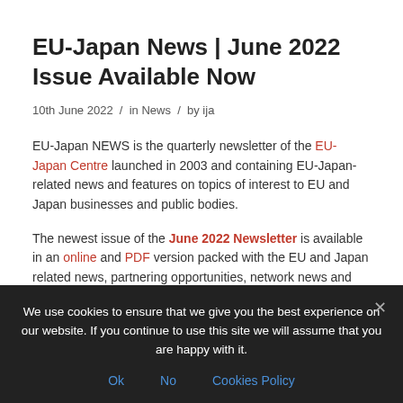EU-Japan News | June 2022 Issue Available Now
10th June 2022  /  in News  /  by ija
EU-Japan NEWS is the quarterly newsletter of the EU-Japan Centre launched in 2003 and containing EU-Japan-related news and features on topics of interest to EU and Japan businesses and public bodies.
The newest issue of the June 2022 Newsletter is available in an online and PDF version packed with the EU and Japan related news, partnering opportunities, network news and lots
We use cookies to ensure that we give you the best experience on our website. If you continue to use this site we will assume that you are happy with it.
Ok
No
Cookies Policy